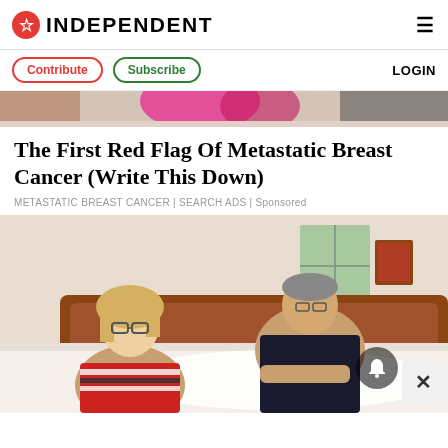INDEPENDENT
Contribute | Subscribe | LOGIN
[Figure (photo): Partial top image showing pink/dark clothing, cropped at top of page]
The First Red Flag Of Metastatic Breast Cancer (Write This Down)
METASTATIC BREAST CANCER | SEARCH ADS | Sponsored
[Figure (photo): Elderly couple in a bedroom: a woman with blonde hair and glasses wearing a striped red/white/black shirt, and a man in a dark polo shirt, both leaning over a bed with white bedding and a wooden headboard. A picture frame on the wall and a window visible in background.]